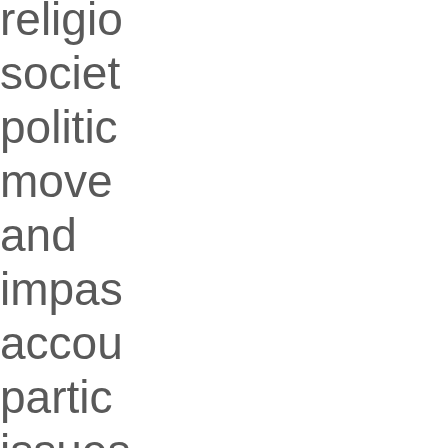religio society politic moves and impas accou partic issues Conta voices multitu traditi nation settin persp Libera includ writin Latin libera theolo and ra Ameri